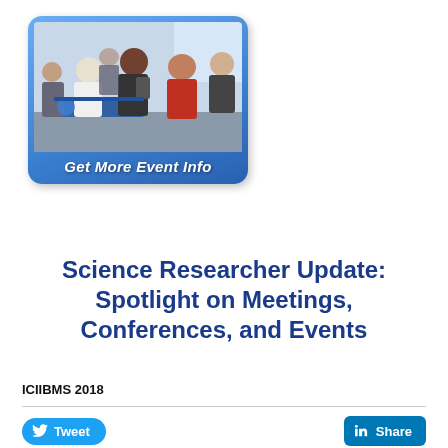[Figure (photo): A blue rounded-rectangle banner with a crowd photo of people at a conference/event, with white italic bold text at the bottom reading 'Get More Event Info']
Science Researcher Update: Spotlight on Meetings, Conferences, and Events
ICIIBMS 2018
[Figure (infographic): Tweet button (blue rounded) and Share button (LinkedIn blue rounded square) side by side]